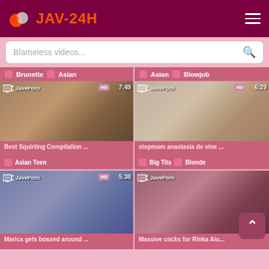JAV-24H
Blameless videos...
Brunette  Asian
Asian  Blowjob
[Figure (screenshot): Video thumbnail - JavePorn, HD, 7:49, Best Squirting Compilation ...]
[Figure (screenshot): Video thumbnail - JavePorn, HD, 6:29, stepmom anastasia de vine ...]
Best Squirting Compilation ...
stepmom anastasia de vine ...
Asian Teen
Big Tits  Blonde
[Figure (screenshot): Video thumbnail - JavePorn, HD, 5:38, Marica gets bossed around ...]
[Figure (screenshot): Video thumbnail - JavePorn, Massive cocks for Rinka Aiu...]
Marica gets bossed around ...
Massive cocks for Rinka Aiu...